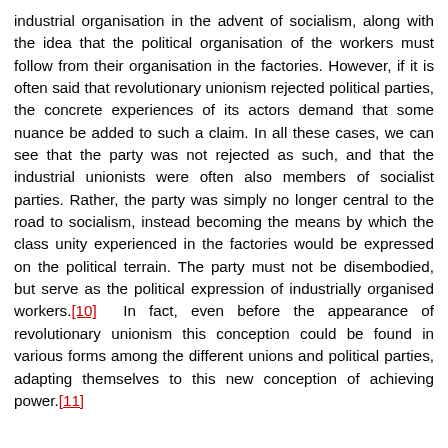industrial organisation in the advent of socialism, along with the idea that the political organisation of the workers must follow from their organisation in the factories. However, if it is often said that revolutionary unionism rejected political parties, the concrete experiences of its actors demand that some nuance be added to such a claim. In all these cases, we can see that the party was not rejected as such, and that the industrial unionists were often also members of socialist parties. Rather, the party was simply no longer central to the road to socialism, instead becoming the means by which the class unity experienced in the factories would be expressed on the political terrain. The party must not be disembodied, but serve as the political expression of industrially organised workers.[10]  In fact, even before the appearance of revolutionary unionism this conception could be found in various forms among the different unions and political parties, adapting themselves to this new conception of achieving power.[11]